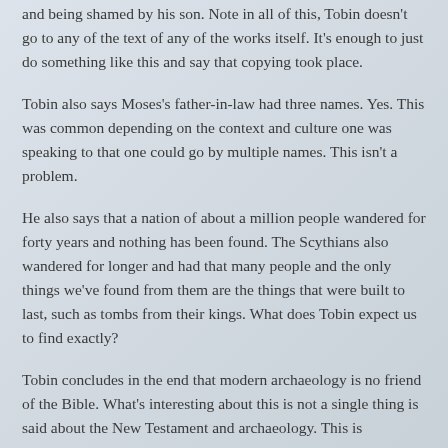and being shamed by his son. Note in all of this, Tobin doesn't go to any of the text of any of the works itself. It's enough to just do something like this and say that copying took place.
Tobin also says Moses's father-in-law had three names. Yes. This was common depending on the context and culture one was speaking to that one could go by multiple names. This isn't a problem.
He also says that a nation of about a million people wandered for forty years and nothing has been found. The Scythians also wandered for longer and had that many people and the only things we've found from them are the things that were built to last, such as tombs from their kings. What does Tobin expect us to find exactly?
Tobin concludes in the end that modern archaeology is no friend of the Bible. What's interesting about this is not a single thing is said about the New Testament and archaeology. This is